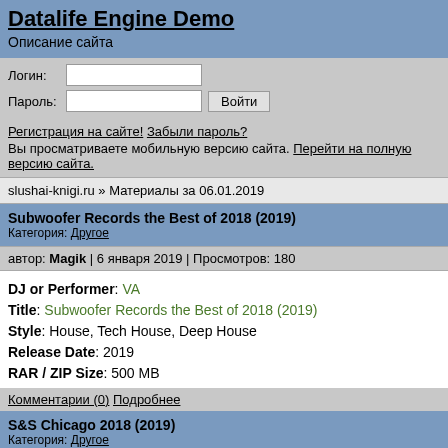Datalife Engine Demo
Описание сайта
Логин: [input] Пароль: [input] Войти
Регистрация на сайте! Забыли пароль?
Вы просматриваете мобильную версию сайта. Перейти на полную версию сайта.
slushai-knigi.ru » Материалы за 06.01.2019
Subwoofer Records the Best of 2018 (2019)
Категория: Другое
автор: Magik | 6 января 2019 | Просмотров: 180
DJ or Performer: VA
Title: Subwoofer Records the Best of 2018 (2019)
Style: House, Tech House, Deep House
Release Date: 2019
RAR / ZIP Size: 500 MB
Комментарии (0) Подробнее
S&S Chicago 2018 (2019)
Категория: Другое
автор: Magik | 6 января 2019 | Просмотров: 169
DJ or Performer: VA
Title: S&S Chicago 2018 (2019)